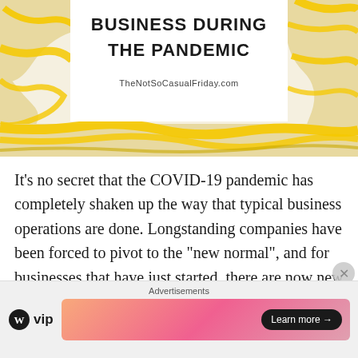[Figure (illustration): Decorative banner with yellow abstract marble/topographic pattern on a cream background. Center white area contains the title 'BUSINESS DURING THE PANDEMIC' in bold uppercase and the URL 'TheNotSoCasualFriday.com' below it.]
BUSINESS DURING THE PANDEMIC
TheNotSoCasualFriday.com
It’s no secret that the COVID-19 pandemic has completely shaken up the way that typical business operations are done. Longstanding companies have been forced to pivot to the “new normal”, and for businesses that have just started, there are now new
[Figure (screenshot): Advertisements bar at the bottom showing WordPress VIP logo on the left and a colorful gradient ad banner on the right with a 'Learn more →' button.]